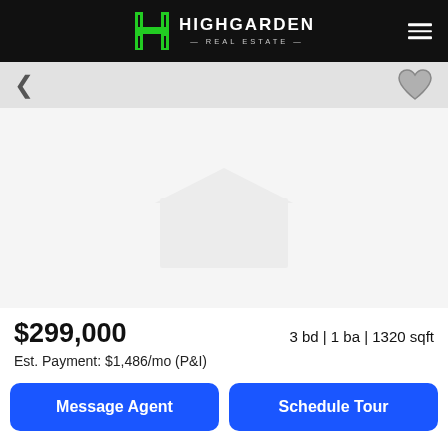[Figure (logo): Highgarden Real Estate logo with green H letter mark and white text on black header bar]
[Figure (photo): Property listing photo area (white/light gray placeholder)]
$299,000
3 bd | 1 ba | 1320 sqft
Est. Payment: $1,486/mo (P&I)
Message Agent
Schedule Tour